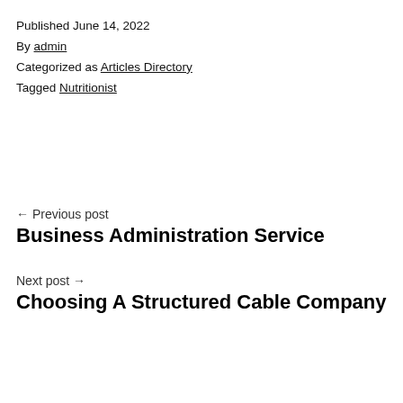Published June 14, 2022
By admin
Categorized as Articles Directory
Tagged Nutritionist
← Previous post
Business Administration Service
Next post →
Choosing A Structured Cable Company